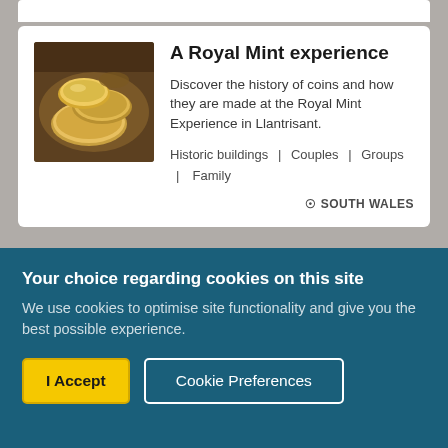[Figure (screenshot): Partial white card visible at top of page, cropped]
A Royal Mint experience
Discover the history of coins and how they are made at the Royal Mint Experience in Llantrisant.
Historic buildings | Couples | Groups | Family
⊙ SOUTH WALES
Your choice regarding cookies on this site
We use cookies to optimise site functionality and give you the best possible experience.
I Accept
Cookie Preferences